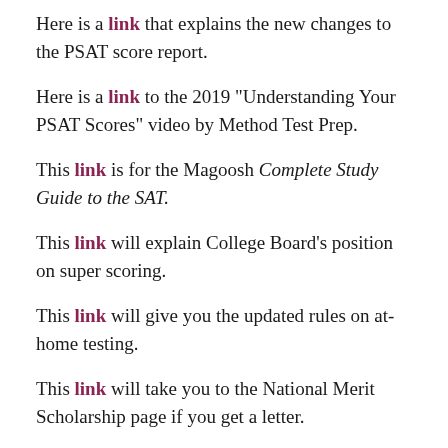Here is a link that explains the new changes to the PSAT score report.
Here is a link to the 2019 "Understanding Your PSAT Scores" video by Method Test Prep.
This link is for the Magoosh Complete Study Guide to the SAT.
This link will explain College Board's position on super scoring.
This link will give you the updated rules on at-home testing.
This link will take you to the National Merit Scholarship page if you get a letter.
This link is to the National Merit page.
This link is to Compass Prep's explanation of cut